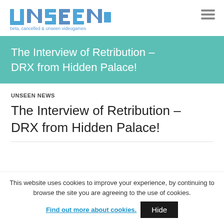[Figure (logo): Unseen64 logo with pixel art robot character and tagline 'beta, cancelled & unseen videogames']
The Interview of Retribution – DRX from Hidden Palace!
UNSEEN NEWS
The Interview of Retribution – DRX from Hidden Palace!
This website uses cookies to improve your experience, by continuing to browse the site you are agreeing to the use of cookies. Find out more about cookies.